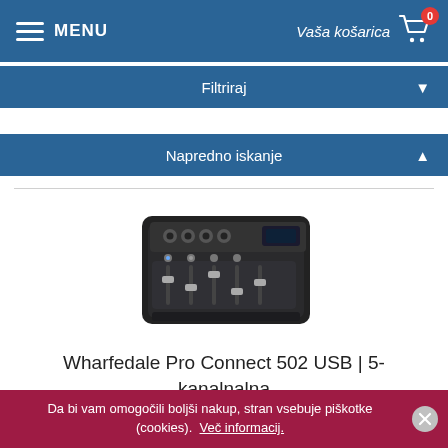MENU   Vaša košarica 0
Filtriraj
Napredno iskanje
[Figure (photo): Photo of a Wharfedale Pro Connect 502 USB 5-channel audio mixer with black chassis, faders, knobs, and XLR connectors]
Wharfedale Pro Connect 502 USB | 5-kanalnalna me...
★★★★★ (empty stars rating)
Da bi vam omogočili boljši nakup, stran vsebuje piškotke (cookies).  Več informacij.